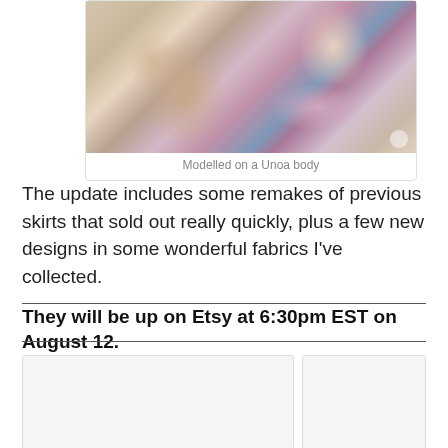[Figure (photo): A ball-jointed doll with pink/auburn hair lying on a white fluffy surface, wearing a floral skirt in pink, blue and purple tones with a light-colored top. Another doll or doll part is visible to the left.]
Modelled on a Unoa body
The update includes some remakes of previous skirts that sold out really quickly, plus a few new designs in some wonderful fabrics I've collected.
They will be up on Etsy at 6:30pm EST on August 12.
[Figure (photo): Partial image panel at bottom left, appears blank/white]
[Figure (photo): Partial image panel at bottom right, appears blank/white]